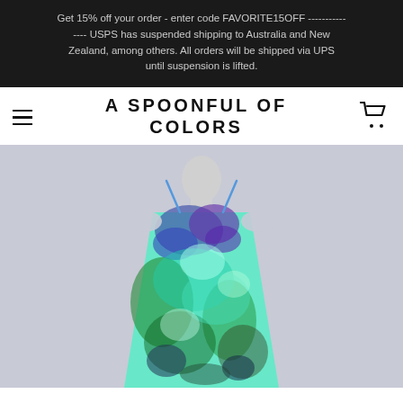Get 15% off your order - enter code FAVORITE15OFF ----------- USPS has suspended shipping to Australia and New Zealand, among others. All orders will be shipped via UPS until suspension is lifted.
A SPOONFUL OF COLORS
[Figure (photo): A mannequin wearing a tie-dye spaghetti strap dress with blue, purple, green, and teal colors on a light grey background.]